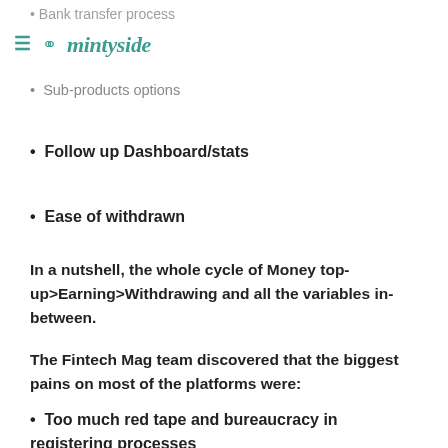Bank transfer process
mintyside
Sub-products options
Follow up Dashboard/stats
Ease of withdrawn
In a nutshell, the whole cycle of Money top-up>Earning>Withdrawing and all the variables in-between.
The Fintech Mag team discovered that the biggest pains on most of the platforms were:
Too much red tape and bureaucracy in registering processes